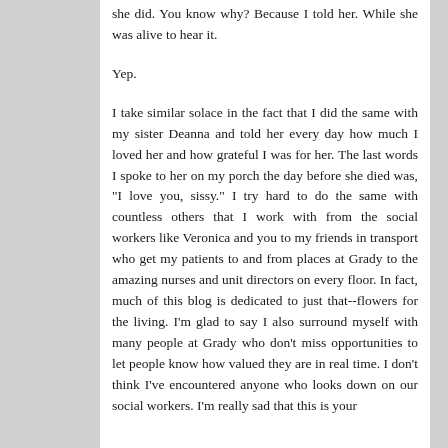she did. You know why? Because I told her. While she was alive to hear it.
Yep.
I take similar solace in the fact that I did the same with my sister Deanna and told her every day how much I loved her and how grateful I was for her. The last words I spoke to her on my porch the day before she died was, "I love you, sissy." I try hard to do the same with countless others that I work with from the social workers like Veronica and you to my friends in transport who get my patients to and from places at Grady to the amazing nurses and unit directors on every floor. In fact, much of this blog is dedicated to just that--flowers for the living. I'm glad to say I also surround myself with many people at Grady who don't miss opportunities to let people know how valued they are in real time. I don't think I've encountered anyone who looks down on our social workers. I'm really sad that this is your